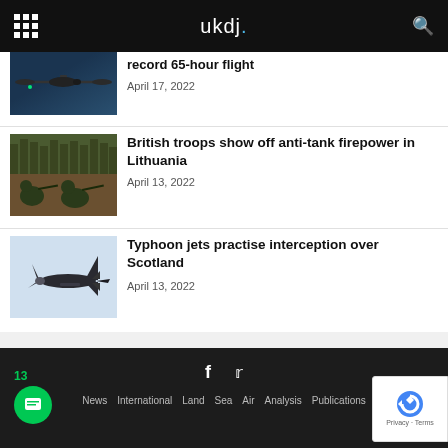ukdj.
record 65-hour flight
April 17, 2022
[Figure (photo): Drone aircraft in flight against blue sky]
British troops show off anti-tank firepower in Lithuania
April 13, 2022
[Figure (photo): British soldiers in camouflage gear aiming weapons in a field]
Typhoon jets practise interception over Scotland
April 13, 2022
[Figure (photo): Typhoon jet aircraft in flight]
News   International   Land   Sea   Air   Analysis   Publications